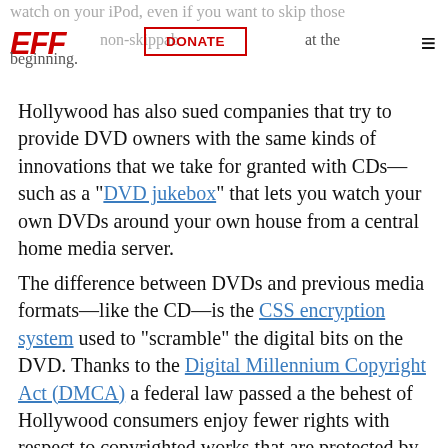watch on your iPod, even if you want to skip those non-skippable... at the beginning.
Hollywood has also sued companies that try to provide DVD owners with the same kinds of innovations that we take for granted with CDs—such as a "DVD jukebox" that lets you watch your own DVDs around your own house from a central home media server.
The difference between DVDs and previous media formats—like the CD—is the CSS encryption system used to "scramble" the digital bits on the DVD. Thanks to the Digital Millennium Copyright Act (DMCA) a federal law passed a the behest of Hollywood consumers enjoy fewer rights with respect to copyrighted works that are protected by